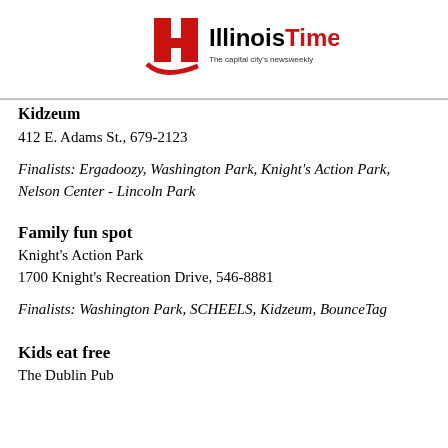Illinois Times — The capital city's newsweekly
Kidzeum
412 E. Adams St., 679-2123
Finalists: Ergadoozy, Washington Park, Knight's Action Park, Nelson Center - Lincoln Park
Family fun spot
Knight's Action Park
1700 Knight's Recreation Drive, 546-8881
Finalists: Washington Park, SCHEELS, Kidzeum, BounceTag
Kids eat free
The Dublin Pub